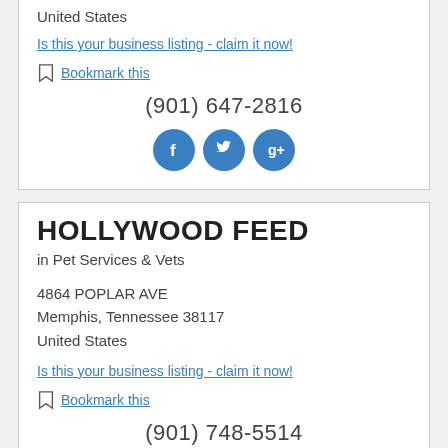United States
Is this your business listing - claim it now!
Bookmark this
(901) 647-2816
[Figure (infographic): Three social media icons: Facebook, Twitter, Google+ in blue circles]
HOLLYWOOD FEED
in Pet Services & Vets
4864 POPLAR AVE
Memphis, Tennessee 38117
United States
Is this your business listing - claim it now!
Bookmark this
(901) 748-5514
[Figure (infographic): Partial social media icons visible at bottom: Facebook, Twitter, Google+ in blue circles]